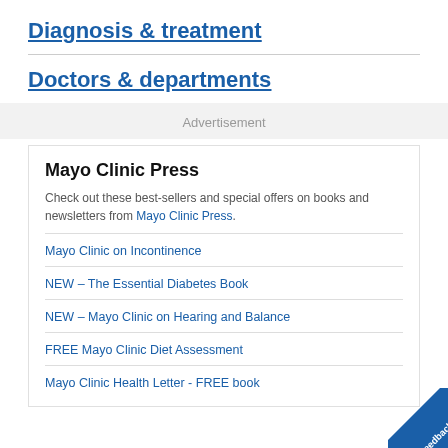Diagnosis & treatment
Doctors & departments
Advertisement
Mayo Clinic Press
Check out these best-sellers and special offers on books and newsletters from Mayo Clinic Press.
Mayo Clinic on Incontinence
NEW – The Essential Diabetes Book
NEW – Mayo Clinic on Hearing and Balance
FREE Mayo Clinic Diet Assessment
Mayo Clinic Health Letter - FREE book